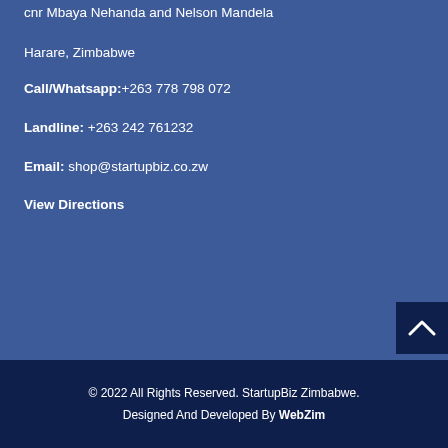cnr Mbaya Nehanda and Nelson Mandela
Harare, Zimbabwe
Call/Whatsapp: +263 778 798 072
Landline: +263 242 761232
Email: shop@startupbiz.co.zw
View Directions
© 2022 All Rights Reserved. StartupBiz Zimbabwe.
Designed And Developed By WebZim